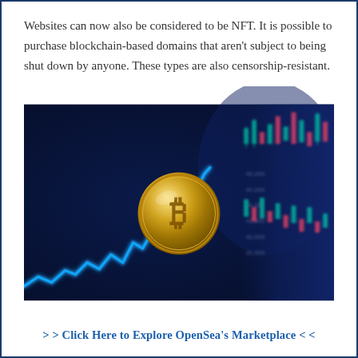Websites can now also be considered to be NFT. It is possible to purchase blockchain-based domains that aren't subject to being shut down by anyone. These types are also censorship-resistant.
[Figure (photo): A gold Bitcoin coin floating in front of a dark blue background with a glowing blue stock market chart line and a blurred candlestick chart display on the right side.]
>> Click Here to Explore OpenSea's Marketplace <<